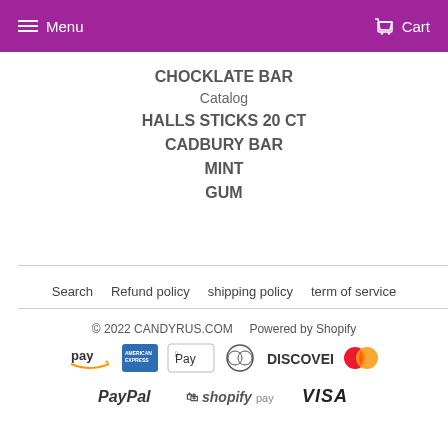Menu   Cart
CHOCKLATE BAR
Catalog
HALLS STICKS 20 CT
CADBURY BAR
MINT
GUM
Search   Refund policy   shipping policy   term of service
© 2022 CANDYRUS.COM   Powered by Shopify
[Figure (logo): Payment method logos: Amazon Pay, American Express, Apple Pay, Diners Club, Discover, Mastercard, PayPal, Shopify Pay, Visa]